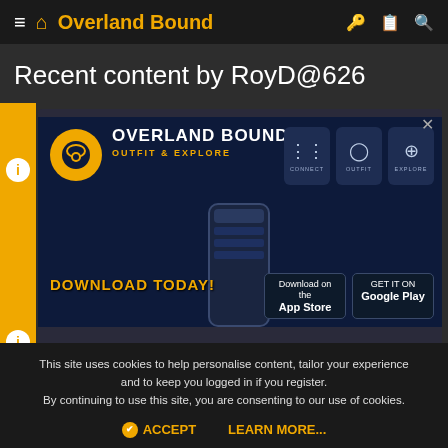≡ 🏠 Overland Bound
Recent content by RoyD@626
[Figure (screenshot): Overland Bound app advertisement banner showing logo, OVERLAND BOUND OUTFIT & EXPLORE text, DOWNLOAD TODAY!, phone mockup, App Store and Google Play badges, and feature cards for CONNECT, OUTFIT, EXPLORE]
This site uses cookies to help personalise content, tailor your experience and to keep you logged in if you register. By continuing to use this site, you are consenting to our use of cookies.
ACCEPT   LEARN MORE...